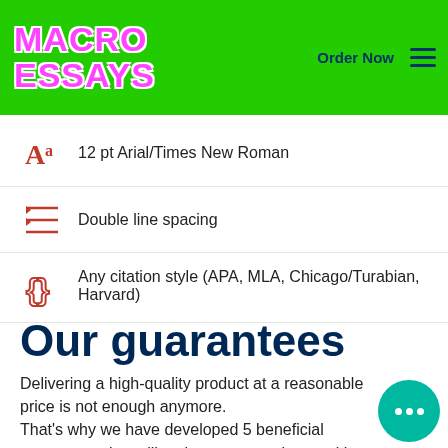MACRO ESSAYS — Order Now
12 pt Arial/Times New Roman
Double line spacing
Any citation style (APA, MLA, Chicago/Turabian, Harvard)
Our guarantees
Delivering a high-quality product at a reasonable price is not enough anymore. That's why we have developed 5 beneficial guarantees that will make your experience with